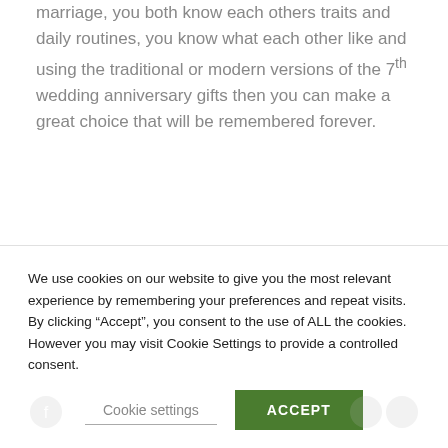marriage, you both know each others traits and daily routines, you know what each other like and using the traditional or modern versions of the 7th wedding anniversary gifts then you can make a great choice that will be remembered forever.
Seventh year wedding anniversary gift ideas
We use cookies on our website to give you the most relevant experience by remembering your preferences and repeat visits. By clicking “Accept”, you consent to the use of ALL the cookies. However you may visit Cookie Settings to provide a controlled consent.